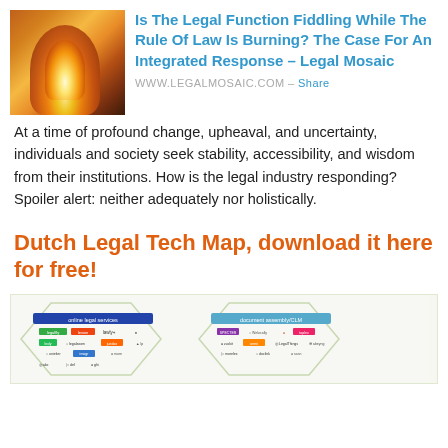[Figure (photo): Photo of a person amid fire and sparks, orange and dramatic lighting]
Is The Legal Function Fiddling While The Rule Of Law Is Burning? The Case For An Integrated Response – Legal Mosaic
WWW.LEGALMOSAIC.COM – Share
At a time of profound change, upheaval, and uncertainty, individuals and society seek stability, accessibility, and wisdom from their institutions. How is the legal industry responding? Spoiler alert: neither adequately nor holistically.
Dutch Legal Tech Map, download it here for free!
[Figure (infographic): Dutch Legal Tech Map preview showing company logos and categories in a hexagonal map layout]